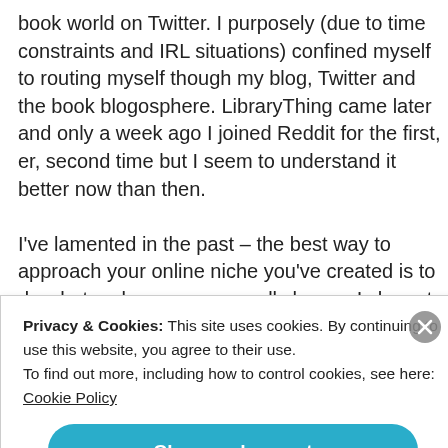book world on Twitter. I purposely (due to time constraints and IRL situations) confined myself to routing myself though my blog, Twitter and the book blogosphere. LibraryThing came later and only a week ago I joined Reddit for the first, er, second time but I seem to understand it better now than then.

I've lamented in the past – the best way to approach your online niche you've created is to do what makes you personally happy. I chose to limit my commitments
Privacy & Cookies: This site uses cookies. By continuing to use this website, you agree to their use.
To find out more, including how to control cookies, see here:
Cookie Policy
Close and accept